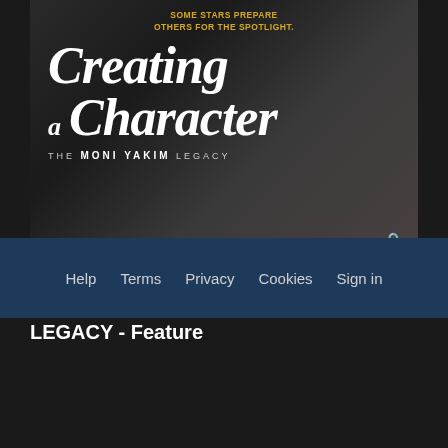[Figure (illustration): Movie poster for 'Creating a Character: The Moni Yakim Legacy' — dark background with stylized hands, bold italic serif title text in white, tagline in gold uppercase, subtitle in small caps. A lock icon appears in the bottom-right corner of the poster.]
CREATING A CHARACTER: THE MONI YAKIM LEGACY - Feature
Help   Terms   Privacy   Cookies   Sign in